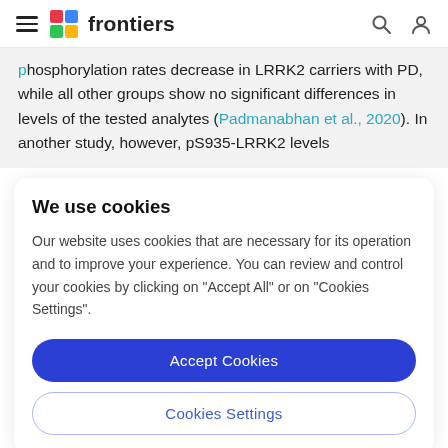frontiers
phosphorylation rates decrease in LRRK2 carriers with PD, while all other groups show no significant differences in levels of the tested analytes (Padmanabhan et al., 2020). In another study, however, pS935-LRRK2 levels
We use cookies
Our website uses cookies that are necessary for its operation and to improve your experience. You can review and control your cookies by clicking on "Accept All" or on "Cookies Settings".
Accept Cookies
Cookies Settings